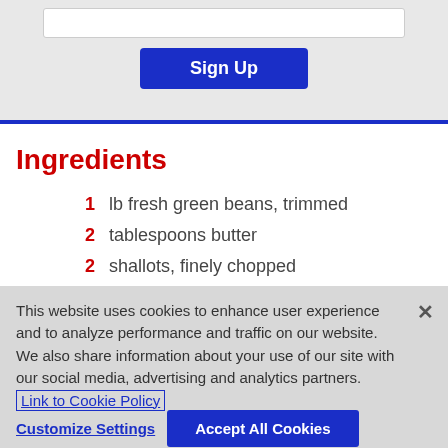[Figure (screenshot): Sign Up button on gray background with input box above it]
Ingredients
1  lb fresh green beans, trimmed
2  tablespoons butter
2  shallots, finely chopped
1/2  teaspoon sugar
This website uses cookies to enhance user experience and to analyze performance and traffic on our website. We also share information about your use of our site with our social media, advertising and analytics partners. Link to Cookie Policy
Customize Settings    Accept All Cookies